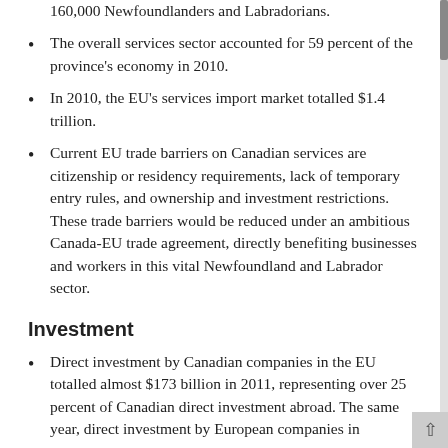160,000 Newfoundlanders and Labradorians.
The overall services sector accounted for 59 percent of the province's economy in 2010.
In 2010, the EU's services import market totalled $1.4 trillion.
Current EU trade barriers on Canadian services are citizenship or residency requirements, lack of temporary entry rules, and ownership and investment restrictions. These trade barriers would be reduced under an ambitious Canada-EU trade agreement, directly benefiting businesses and workers in this vital Newfoundland and Labrador sector.
Investment
Direct investment by Canadian companies in the EU totalled almost $173 billion in 2011, representing over 25 percent of Canadian direct investment abroad. The same year, direct investment by European companies in